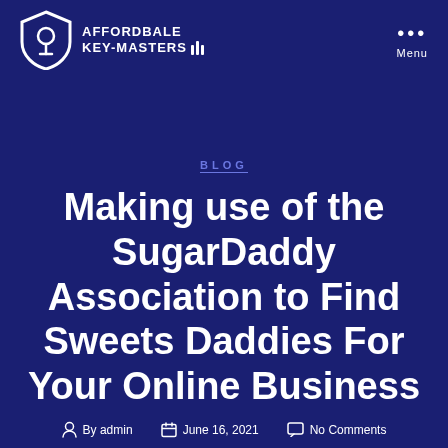AFFORDBALE KEY-MASTERS
BLOG
Making use of the SugarDaddy Association to Find Sweets Daddies For Your Online Business
By admin   June 16, 2021   No Comments